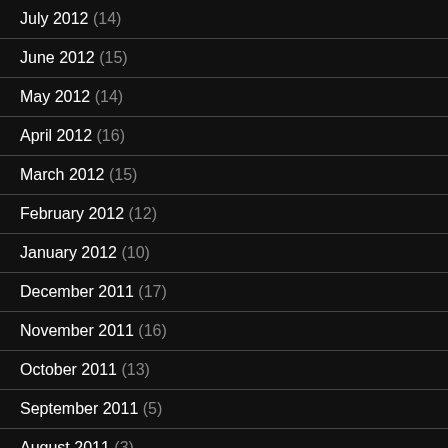July 2012 (14)
June 2012 (15)
May 2012 (14)
April 2012 (16)
March 2012 (15)
February 2012 (12)
January 2012 (10)
December 2011 (17)
November 2011 (16)
October 2011 (13)
September 2011 (5)
August 2011 (3)
July 2011 (14)